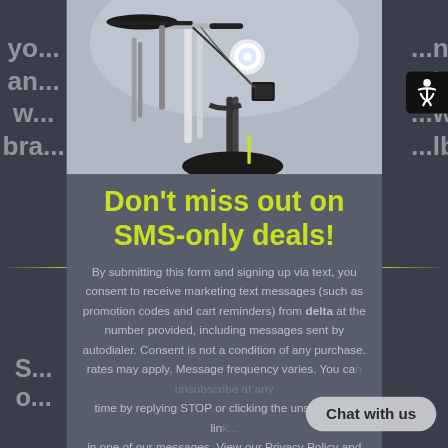[Figure (photo): Close-up photo of a white and black electric bicycle, showing handlebars, headlight, front fork, and yellow-accented tire. Blurred background suggesting an outdoor urban environment.]
Don't miss out on SMS-only deals!
By submitting this form and signing up via text, you consent to receive marketing text messages (such as promotion codes and cart reminders) from delta at the number provided, including messages sent by autodialer. Consent is not a condition of any purchase. rates may apply. Message frequency varies. You can unsubscribe at any time by replying STOP or clicking the unsubscribe link (where available) in one of our messages. View our Privacy Policy and Terms of Service.